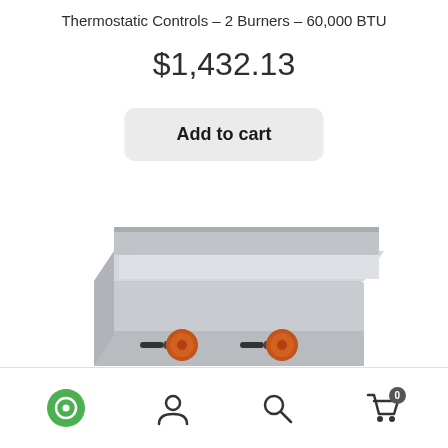Thermostatic Controls – 2 Burners – 60,000 BTU
$1,432.13
Add to cart
[Figure (photo): Commercial gas griddle with flat stainless steel cooking surface, two orange thermostatic control knobs on the front panel, viewed from a three-quarter angle on a white background.]
Chat icon | Account icon | Search icon | Cart icon (0)